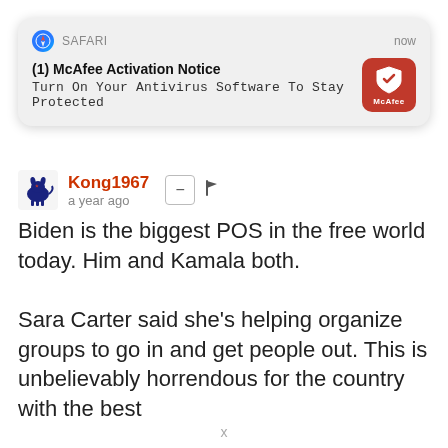[Figure (screenshot): Safari browser push notification card showing McAfee Activation Notice: '(1) McAfee Activation Notice - Turn On Your Antivirus Software To Stay Protected' with McAfee red shield icon, timestamped 'now']
Kong1967
a year ago
Biden is the biggest POS in the free world today. Him and Kamala both.

Sara Carter said she's helping organize groups to go in and get people out. This is unbelievably horrendous for the country with the best